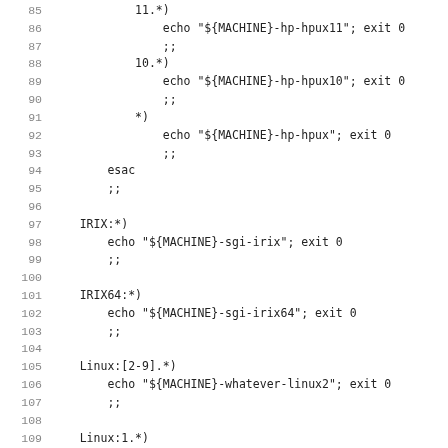Code listing lines 85-116+, shell script case statement for platform detection